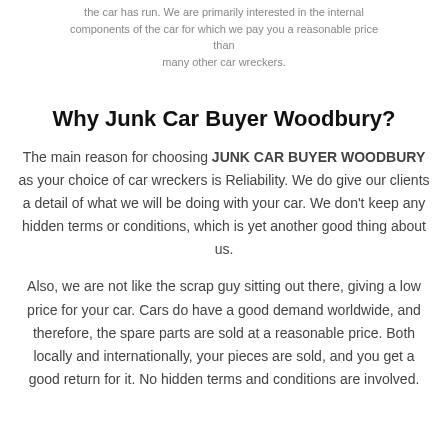the car has run. We are primarily interested in the internal components of the car for which we pay you a reasonable price than many other car wreckers.
Why Junk Car Buyer Woodbury?
The main reason for choosing JUNK CAR BUYER WOODBURY as your choice of car wreckers is Reliability. We do give our clients a detail of what we will be doing with your car. We don’t keep any hidden terms or conditions, which is yet another good thing about us.
Also, we are not like the scrap guy sitting out there, giving a low price for your car. Cars do have a good demand worldwide, and therefore, the spare parts are sold at a reasonable price. Both locally and internationally, your pieces are sold, and you get a good return for it. No hidden terms and conditions are involved.